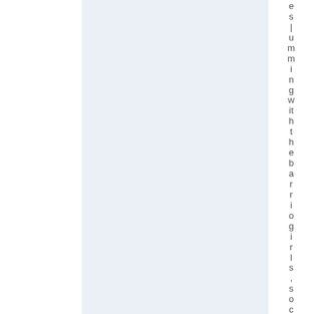es | umming with the barriogi r l s , s o c